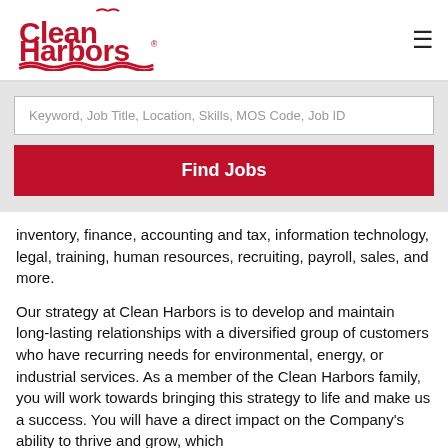[Figure (logo): Clean Harbors logo in red with wave graphics beneath the text]
Keyword, Job Title, Location, Skills, MOS Code, Job ID
Find Jobs
inventory, finance, accounting and tax, information technology, legal, training, human resources, recruiting, payroll, sales, and more.
Our strategy at Clean Harbors is to develop and maintain long-lasting relationships with a diversified group of customers who have recurring needs for environmental, energy, or industrial services. As a member of the Clean Harbors family, you will work towards bringing this strategy to life and make us a success. You will have a direct impact on the Company's ability to thrive and grow, which